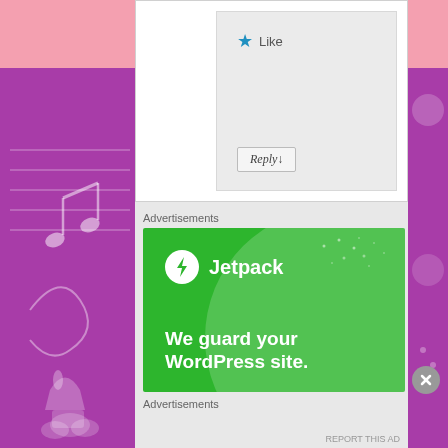[Figure (screenshot): WordPress blog comment interface showing a Like button with blue star icon and a Reply button, inside a light gray comment box on white background]
Advertisements
[Figure (illustration): Jetpack advertisement banner with green background, circular highlight, Jetpack logo with lightning bolt icon, and text: We guard your WordPress site.]
Advertisements